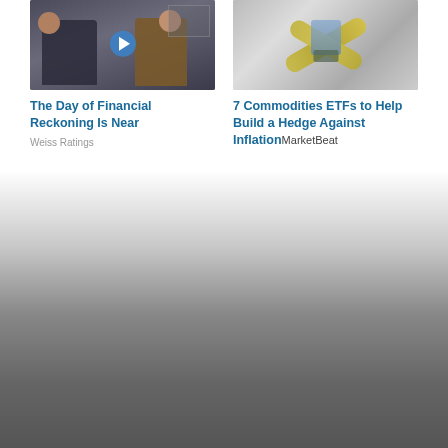[Figure (photo): Two men sitting in what appears to be an office or studio setting; a blue play button overlay is visible in the center of the image]
The Day of Financial Reckoning Is Near
Weiss Ratings
[Figure (photo): A measuring tape and what appears to be paper money or currency shaped into a figure, against a gray background]
7 Commodities ETFs to Help Build a Hedge Against Inflation
MarketBeat